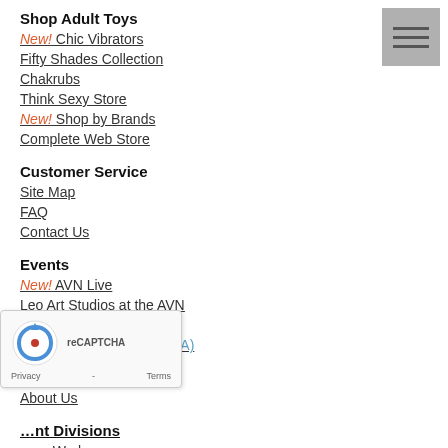Shop Adult Toys
New! Chic Vibrators
Fifty Shades Collection
Chakrubs
Think Sexy Store
New! Shop by Brands
Complete Web Store
Customer Service
Site Map
FAQ
Contact Us
Events
New! AVN Live
Leo Art Studios at the AVN
New! Live Podcasts
Vegas Art Experience (TBA)
Get to Know Us
About Us
Entertainment Divisions
es Works
Music Entertainment